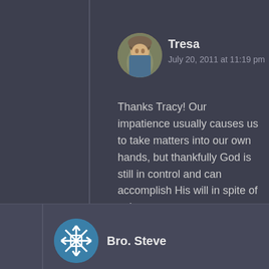Tresa
July 20, 2011 at 11:19 pm
Thanks Tracy! Our impatience usually causes us to take matters into our own hands, but thankfully God is still in control and can accomplish His will in spite of us!
Like
Reply
Bro. Steve